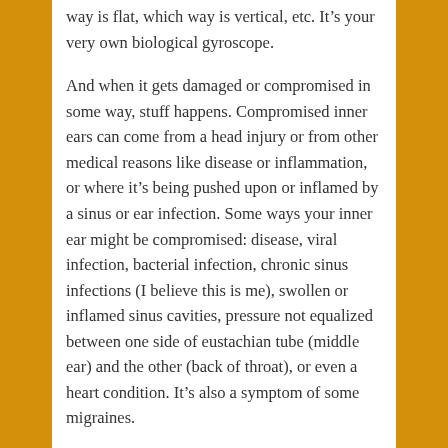way is flat, which way is vertical, etc. It's your very own biological gyroscope.
And when it gets damaged or compromised in some way, stuff happens. Compromised inner ears can come from a head injury or from other medical reasons like disease or inflammation, or where it's being pushed upon or inflamed by a sinus or ear infection. Some ways your inner ear might be compromised: disease, viral infection, bacterial infection, chronic sinus infections (I believe this is me), swollen or inflamed sinus cavities, pressure not equalized between one side of eustachian tube (middle ear) and the other (back of throat), or even a heart condition. It's also a symptom of some migraines.
Sinuses can be inflamed simply from not